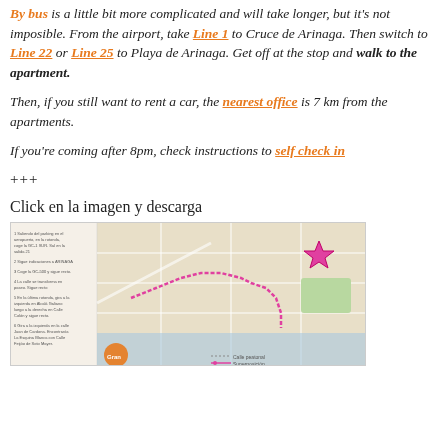By bus is a little bit more complicated and will take longer, but it's not imposible. From the airport, take Line 1 to Cruce de Arinaga. Then switch to Line 22 or Line 25 to Playa de Arinaga. Get off at the stop and walk to the apartment.
Then, if you still want to rent a car, the nearest office is 7 km from the apartments.
If you're coming after 8pm, check instructions to self check in
+++
Click en la imagen y descarga
[Figure (map): A map showing directions from the airport to Playa de Arinaga, with a pink route line, a magenta star marking the destination, and numbered instructions on the left side. Gran Canaria branding visible at bottom.]